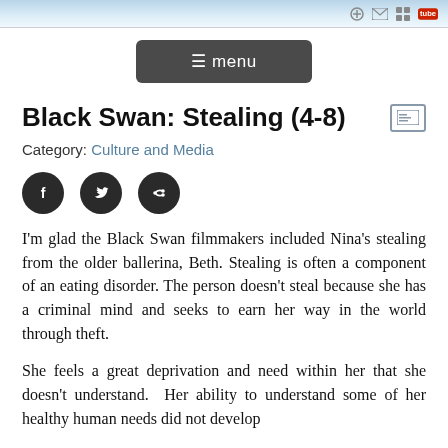Black Swan: Stealing (4-8)
Category: Culture and Media
[Figure (other): Social share icons: Facebook, Twitter, and Share/Forward circular buttons]
I'm glad the Black Swan filmmakers included Nina's stealing from the older ballerina, Beth. Stealing is often a component of an eating disorder. The person doesn't steal because she has a criminal mind and seeks to earn her way in the world through theft.
She feels a great deprivation and need within her that she doesn't understand.  Her ability to understand some of her healthy human needs did not develop